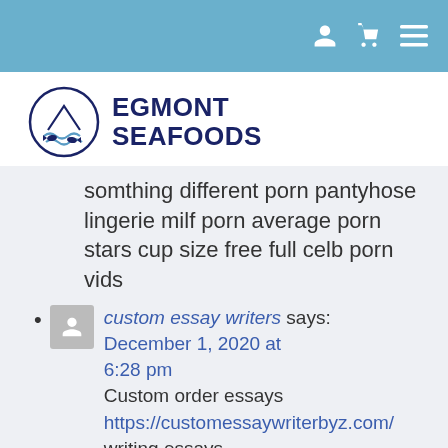[navigation bar with icons]
[Figure (logo): Egmont Seafoods logo: circle with fish and waves illustration, text EGMONT SEAFOODS in dark navy blue]
somthing different porn pantyhose lingerie milf porn average porn stars cup size free full celb porn vids
custom essay writers says: December 1, 2020 at 6:28 pm Custom order essays https://customessaywriterbyz.com/ writing essays